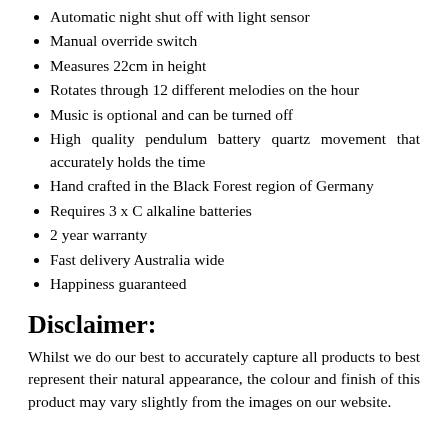Automatic night shut off with light sensor
Manual override switch
Measures 22cm in height
Rotates through 12 different melodies on the hour
Music is optional and can be turned off
High quality pendulum battery quartz movement that accurately holds the time
Hand crafted in the Black Forest region of Germany
Requires 3 x C alkaline batteries
2 year warranty
Fast delivery Australia wide
Happiness guaranteed
Disclaimer:
Whilst we do our best to accurately capture all products to best represent their natural appearance, the colour and finish of this product may vary slightly from the images on our website.